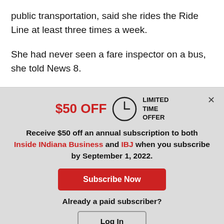public transportation, said she rides the Ride Line at least three times a week.
She had never seen a fare inspector on a bus, she told News 8.
[Figure (screenshot): Subscription offer modal with $50 OFF limited time offer for Inside INdiana Business and IBJ, Subscribe Now button, and Log In button for existing subscribers.]